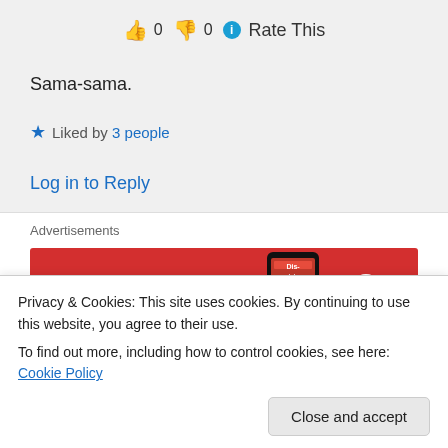👍 0 👎 0 ℹ Rate This
Sama-sama.
★ Liked by 3 people
Log in to Reply
Advertisements
[Figure (other): Advertisement banner: Pocket Casts app - 'An app by listeners, for listeners.' on red background with phone image]
REPORT THIS AD
Privacy & Cookies: This site uses cookies. By continuing to use this website, you agree to their use.
To find out more, including how to control cookies, see here: Cookie Policy
Close and accept